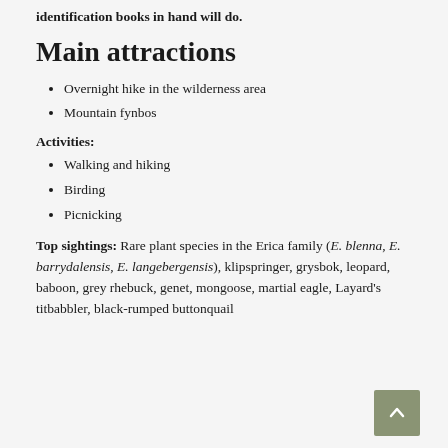identification books in hand will do.
Main attractions
Overnight hike in the wilderness area
Mountain fynbos
Activities:
Walking and hiking
Birding
Picnicking
Top sightings: Rare plant species in the Erica family (E. blenna, E. barrydalensis, E. langebergensis), klipspringer, grysbok, leopard, baboon, grey rhebuck, genet, mongoose, martial eagle, Layard's titbabbler, black-rumped buttonquail